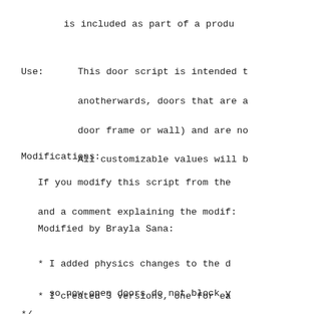is included as part of a produ
Use:      This door script is intended t
          anotherwards, doors that are a
          door frame or wall) and are no
          All customizable values will b
Modifications:
If you modify this script from the
     and a comment explaining the modif:
Modified by Brayla Sana:
* I added physics changes to the d
     so now open doors do not block y
* I created 3 versions, one for ea
*/